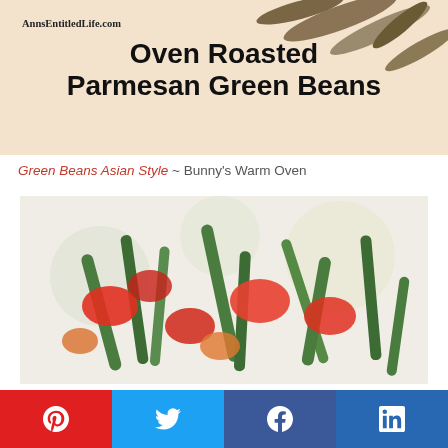[Figure (photo): Oven Roasted Parmesan Green Beans recipe card image with text overlay on a light beige background. Small watermark reads AnnsEntitledLife.com]
Oven Roasted Parmesan Green Beans
Green Beans Asian Style ~ Bunny's Warm Oven
[Figure (photo): Photo of green beans Asian style dish with red peppers and green beans on a white background]
[Figure (other): Social share buttons: Pinterest (red), Twitter (blue), Facebook (dark blue), LinkedIn (blue)]